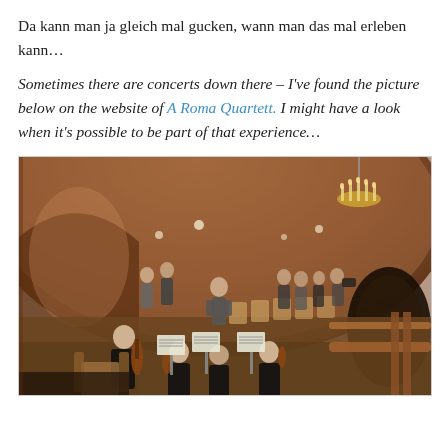Da kann man ja gleich mal gucken, wann man das mal erleben kann…
Sometimes there are concerts down there – I've found the picture below on the website of A Roma Quartett. I might have a look when it's possible to be part of that experience…
[Figure (photo): Interior of a brick-vaulted underground venue with musicians of a string quartet seated in the foreground reading music from stands, a man standing in the center, several people standing in the background, wooden chairs arranged as seating, a chandelier on the right, and warm lighting throughout.]